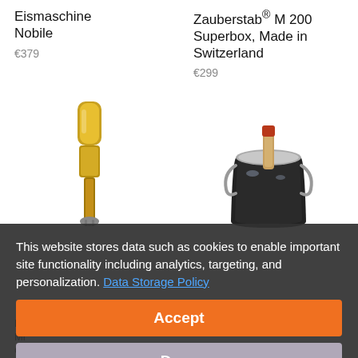Eismaschine Nobile
€379
Zauberstab® M 200 Superbox, Made in Switzerland
€299
[Figure (illustration): Gold-colored immersion blender / stick blender product image]
[Figure (illustration): Champagne bucket with bottle, black and silver, product image]
This website stores data such as cookies to enable important site functionality including analytics, targeting, and personalization. Data Storage Policy
Accept
Deny
ES... Mi... Gold
€139,99
English